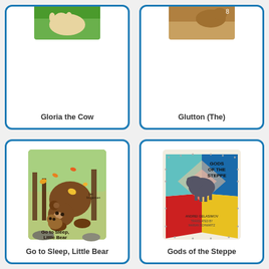[Figure (illustration): Book cover for Gloria the Cow, partially visible at top]
Gloria the Cow
[Figure (illustration): Book cover for Glutton (The), partially visible at top]
Glutton (The)
[Figure (illustration): Book cover for Go to Sleep, Little Bear showing a large bear and small bear with autumn leaves]
Go to Sleep, Little Bear
[Figure (illustration): Book cover for Gods of the Steppe showing geometric colorful shapes and an animal, author Andrei Gelasimov]
Gods of the Steppe